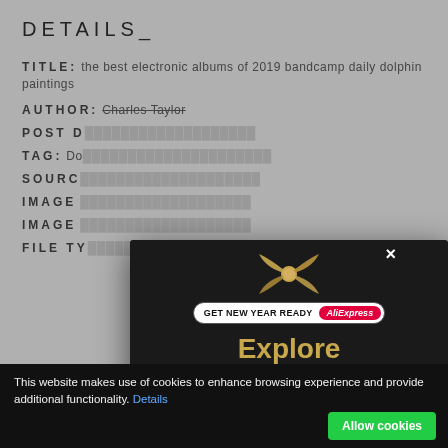DETAILS_
TITLE: the best electronic albums of 2019 bandcamp daily dolphin paintings
AUTHOR: Charles Taylor
POST D[ATE: …]
TAG: Do[…]
SOURC[E: …]
IMAGE […]
IMAGE […]
FILE TY[PE: …]
[Figure (screenshot): AliExpress advertisement popup with dark background, gift box with gold bow, badge reading 'GET NEW YEAR READY AliExpress', and text 'Explore up to 70% off']
× (close button)
This website makes use of cookies to enhance browsing experience and provide additional functionality. Details   Allow cookies